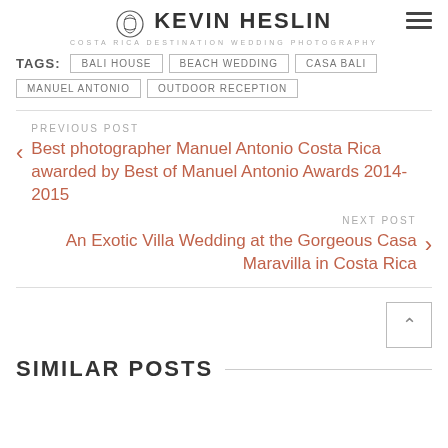KEVIN HESLIN — COSTA RICA DESTINATION WEDDING PHOTOGRAPHY
TAGS: BALI HOUSE | BEACH WEDDING | CASA BALI | MANUEL ANTONIO | OUTDOOR RECEPTION
PREVIOUS POST
Best photographer Manuel Antonio Costa Rica awarded by Best of Manuel Antonio Awards 2014-2015
NEXT POST
An Exotic Villa Wedding at the Gorgeous Casa Maravilla in Costa Rica
SIMILAR POSTS